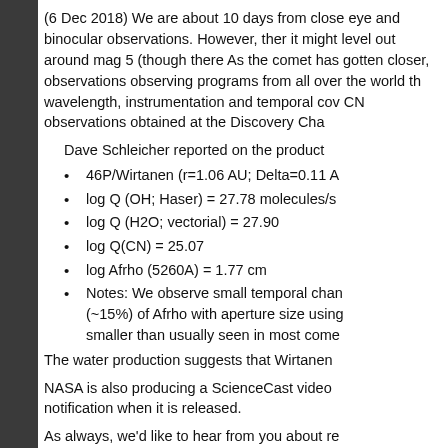(6 Dec 2018) We are about 10 days from closest approach and the comet is a fine naked eye and binocular observations. However, there are indications that the comet has peaked and it might level out around mag 5 (though there is still hope for a continued brightening). As the comet has gotten closer, observations are flooding in. There are coordinated observing programs from all over the world that are providing extensive temporal, wavelength, instrumentation and temporal coverage. One example is the narrowband and CN observations obtained at the Discovery Channel Telescope.
Dave Schleicher reported on the production rates from 46P/Wirtanen (r=1.06 AU; Delta=0.11 AU) on 5 Dec:
46P/Wirtanen (r=1.06 AU; Delta=0.11 A
log Q (OH; Haser) = 27.78 molecules/s
log Q (H2O; vectorial) = 27.90
log Q(CN) = 25.07
log Afrho (5260A) = 1.77 cm
Notes: We observe small temporal changes (~15%) of Afrho with aperture size using smaller than usually seen in most come
The water production suggests that Wirtanen
NASA is also producing a ScienceCast video notification when it is released.
As always, we'd like to hear from you about re
For more information about the comet, visit th